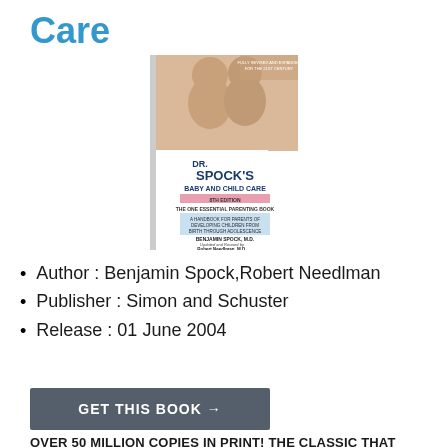Care
[Figure (photo): Book cover of Dr. Spock's Baby and Child Care, 8th Edition, showing two babies sitting together, by Benjamin Spock M.D., Updated and Revised by Robert Needlman M.D.]
Author : Benjamin Spock,Robert Needlman
Publisher : Simon and Schuster
Release : 01 June 2004
GET THIS BOOK →
OVER 50 MILLION COPIES IN PRINT! THE CLASSIC THAT CONTINUES TO GROW WITH...